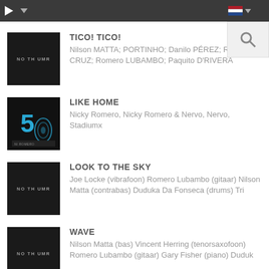Player controls and language selector
TICO! TICO!
Nilson MATTA; PORTINHO; Danilo PÉREZ; Raphael CRUZ; Romero LUBAMBO; Paquito D'RIVERA
LIKE HOME
Nicky Romero, Nicky Romero & Nervo, Nervo, Stadiumx
LOOK TO THE SKY
Joe Locke (vibrafoon) Romero Lubambo (gitaar) Nilson Matta (contrabas) Duduka Da Fonseca (drums) Tri
WAVE
Nilson Matta (bas) Vincent Herring (tenorsaxofoon) Romero Lubambo (gitaar) Gary Fisher (piano) Duduk